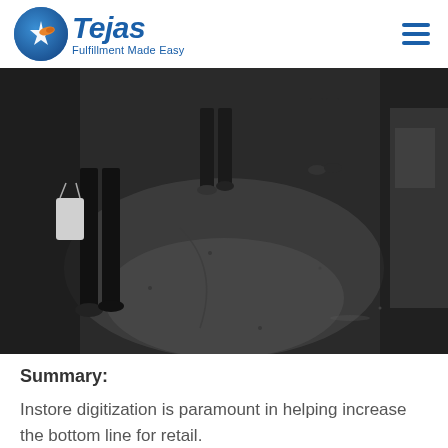Tejas — Fulfillment Made Easy
[Figure (photo): Black and white street photo showing pedestrians from waist down walking on a wet urban road. One person carries a white shopping bag. The scene is dark and moody with worn pavement.]
Summary:
Instore digitization is paramount in helping increase the bottom line for retail.